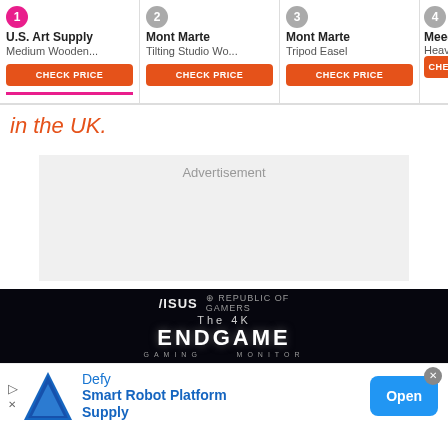[Figure (screenshot): Product comparison carousel showing 4 products: 1. U.S. Art Supply Medium Wooden..., 2. Mont Marte Tilting Studio Wo..., 3. Mont Marte Tripod Easel, 4. Meeder Heavy Duty T... Each with CHECK PRICE button. A next arrow is visible on the right.]
in the UK.
Advertisement
[Figure (screenshot): ASUS ROG Republic of Gamers banner ad showing 'The 4K ENDGAME GAMING MONITOR' on a dark background with cityscape imagery.]
[Figure (screenshot): Bottom mobile ad banner: Defy logo triangle, 'Defy Smart Robot Platform Supply', blue 'Open' button, close X button.]